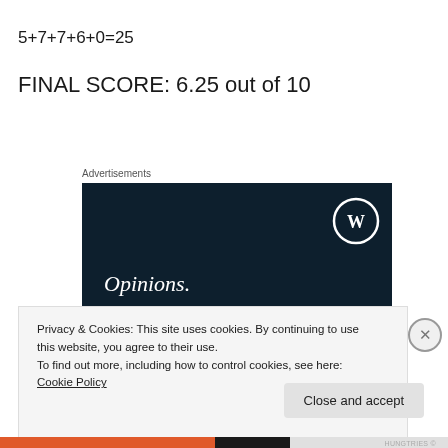5+7+7+6+0=25
FINAL SCORE: 6.25 out of 10
Advertisements
[Figure (screenshot): WordPress advertisement banner with dark navy background. Shows WordPress logo (W in circle) top right. Text reads 'Opinions.' in italic serif and 'We all have them!' in bold serif, white on dark background.]
Privacy & Cookies: This site uses cookies. By continuing to use this website, you agree to their use.
To find out more, including how to control cookies, see here: Cookie Policy
Close and accept